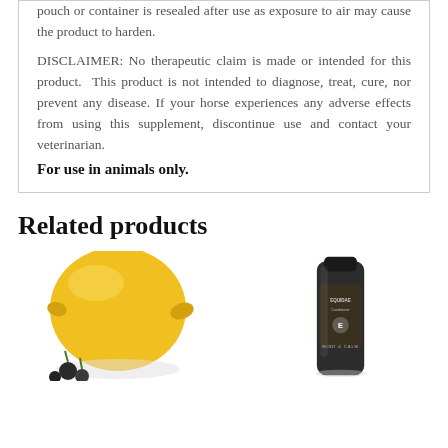pouch or container is resealed after use as exposure to air may cause the product to harden.
DISCLAIMER: No therapeutic claim is made or intended for this product.  This product is not intended to diagnose, treat, cure, nor prevent any disease. If your horse experiences any adverse effects from using this supplement, discontinue use and contact your veterinarian.
For use in animals only.
Related products
[Figure (photo): Photo of a yellow lemon with small round dark berries or fruits near the bottom, on a white background.]
[Figure (photo): Photo of a dark bottle labeled 'EQUIDAE Conditioner' with text 'MIND & CALM' visible, on a light/white background.]